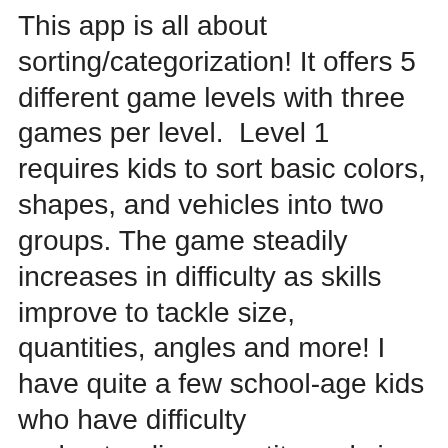This app is all about sorting/categorization! It offers 5 different game levels with three games per level.  Level 1 requires kids to sort basic colors, shapes, and vehicles into two groups. The game steadily increases in difficulty as skills improve to tackle size, quantities, angles and more! I have quite a few school-age kids who have difficulty understanding quantity and size, so the visuals used in this app has been helpful.
4. Toddler games, puzzles, shapes -